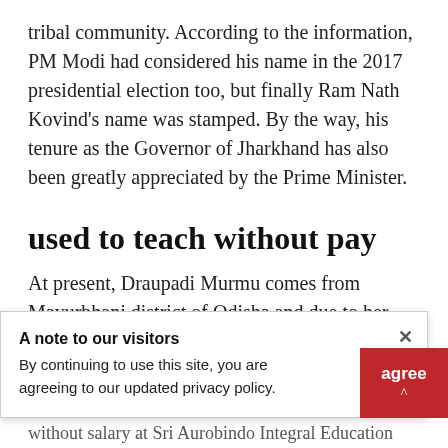tribal community. According to the information, PM Modi had considered his name in the 2017 presidential election too, but finally Ram Nath Kovind's name was stamped. By the way, his tenure as the Governor of Jharkhand has also been greatly appreciated by the Prime Minister.
used to teach without pay
At present, Draupadi Murmu comes from Mayurbhanj district of Odisha and due to her being a tribal and a woman, the BJP has probably run a
A note to our visitors
By continuing to use this site, you are agreeing to our updated privacy policy.
without salary at Sri Aurobindo Integral Education